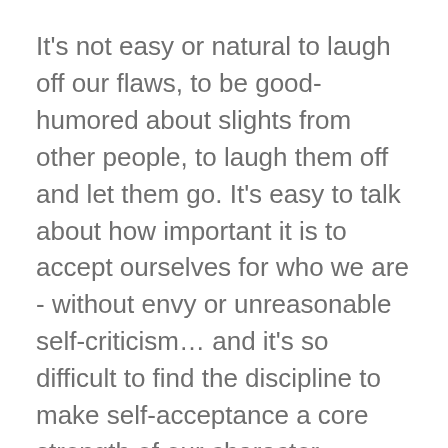It's not easy or natural to laugh off our flaws, to be good-humored about slights from other people, to laugh them off and let them go. It's easy to talk about how important it is to accept ourselves for who we are - without envy or unreasonable self-criticism… and it's so difficult to find the discipline to make self-acceptance a core strength of our character.
Fact: a truly healthy sense of humor cannot co-exist with obsessive self-criticism, or with a reflexive need to make fun of others at their expense… to make